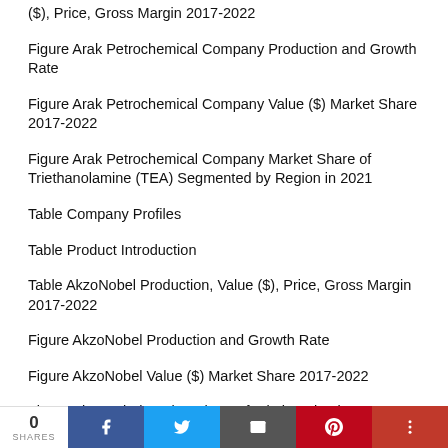($), Price, Gross Margin 2017-2022
Figure Arak Petrochemical Company Production and Growth Rate
Figure Arak Petrochemical Company Value ($) Market Share 2017-2022
Figure Arak Petrochemical Company Market Share of Triethanolamine (TEA) Segmented by Region in 2021
Table Company Profiles
Table Product Introduction
Table AkzoNobel Production, Value ($), Price, Gross Margin 2017-2022
Figure AkzoNobel Production and Growth Rate
Figure AkzoNobel Value ($) Market Share 2017-2022
Figure AkzoNobel Market Share of Triethanolamine